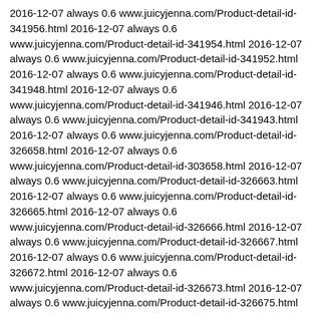2016-12-07 always 0.6 www.juicyjenna.com/Product-detail-id-341956.html 2016-12-07 always 0.6 www.juicyjenna.com/Product-detail-id-341954.html 2016-12-07 always 0.6 www.juicyjenna.com/Product-detail-id-341952.html 2016-12-07 always 0.6 www.juicyjenna.com/Product-detail-id-341948.html 2016-12-07 always 0.6 www.juicyjenna.com/Product-detail-id-341946.html 2016-12-07 always 0.6 www.juicyjenna.com/Product-detail-id-341943.html 2016-12-07 always 0.6 www.juicyjenna.com/Product-detail-id-326658.html 2016-12-07 always 0.6 www.juicyjenna.com/Product-detail-id-303658.html 2016-12-07 always 0.6 www.juicyjenna.com/Product-detail-id-326663.html 2016-12-07 always 0.6 www.juicyjenna.com/Product-detail-id-326665.html 2016-12-07 always 0.6 www.juicyjenna.com/Product-detail-id-326666.html 2016-12-07 always 0.6 www.juicyjenna.com/Product-detail-id-326667.html 2016-12-07 always 0.6 www.juicyjenna.com/Product-detail-id-326672.html 2016-12-07 always 0.6 www.juicyjenna.com/Product-detail-id-326673.html 2016-12-07 always 0.6 www.juicyjenna.com/Product-detail-id-326675.html 2016-12-07 always 0.6 www.juicyjenna.com/Product-detail-id-326677.html 2016-12-07 always 0.6 www.juicyjenna.com/Product-detail-id-326671.html 2016-12-07 always 0.6 www.juicyjenna.com/Product-detail-id-326657.html 2016-11-22 always 0.6 www.juicyjenna.com/Product-detail-id-326656.html 2016-11-22 always 0.6 www.juicyjenna.com/Article-detail-id-627065.html